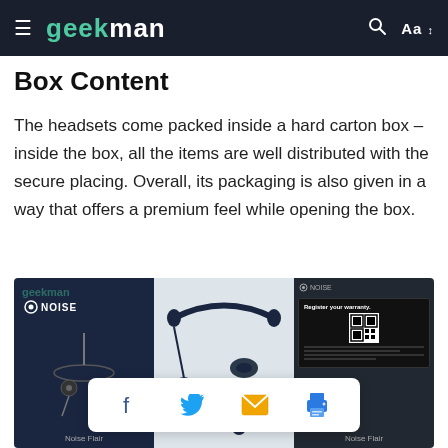geekman
Box Content
The headsets come packed inside a hard carton box – inside the box, all the items are well distributed with the secure placing. Overall, its packaging is also given in a way that offers a premium feel while opening the box.
[Figure (photo): Three-panel photo: left panel shows Noise Flair earphone product box with earphones on dark background; center panel shows unboxed earphones, ear tips, and accessories on white surface; right panel shows Noise Flair manual/registration card on dark background. Social share bar overlay with Facebook, Twitter, email, and print icons.]